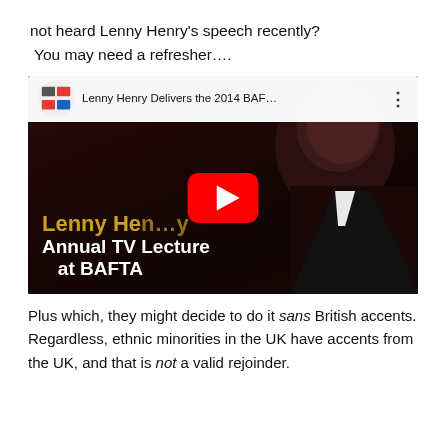not heard Lenny Henry's speech recently?
You may need a refresher....
[Figure (screenshot): YouTube video thumbnail: 'Lenny Henry Delivers the 2014 BAF...' showing Lenny Henry smiling, with text overlay 'Lenny Henry Annual TV Lecture at BAFTA' and a red YouTube play button.]
Plus which, they might decide to do it sans British accents. Regardless, ethnic minorities in the UK have accents from the UK, and that is not a valid rejoinder.